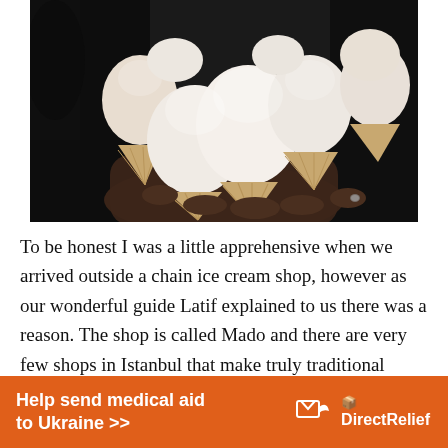[Figure (photo): Person holding a bouquet of multiple waffle ice cream cones topped with large white scoops of ice cream against a dark background.]
To be honest I was a little apprehensive when we arrived outside a chain ice cream shop, however as our wonderful guide Latif explained to us there was a reason. The shop is called Mado and there are very few shops in Istanbul that make truly traditional Turkish ice cream. The reason being is that real
[Figure (infographic): Orange advertisement banner reading 'Help send medical aid to Ukraine >>' with the Direct Relief logo (white bird icon) and 'Direct Relief' text in white.]